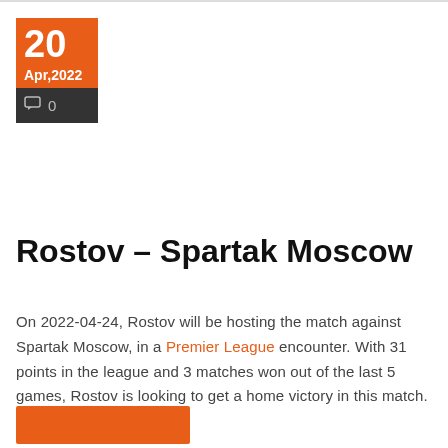[Figure (other): Date badge with orange top section showing '20' and 'Apr,2022', and dark bottom section showing a comment bubble icon and '0']
Rostov – Spartak Moscow
On 2022-04-24, Rostov will be hosting the match against Spartak Moscow, in a Premier League encounter. With 31 points in the league and 3 matches won out of the last 5 games, Rostov is looking to get a home victory in this match.